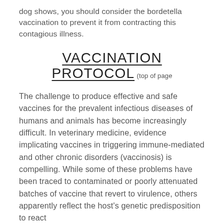dog shows, you should consider the bordetella vaccination to prevent it from contracting this contagious illness.
VACCINATION PROTOCOL (top of page
The challenge to produce effective and safe vaccines for the prevalent infectious diseases of humans and animals has become increasingly difficult. In veterinary medicine, evidence implicating vaccines in triggering immune-mediated and other chronic disorders (vaccinosis) is compelling. While some of these problems have been traced to contaminated or poorly attenuated batches of vaccine that revert to virulence, others apparently reflect the host's genetic predisposition to react